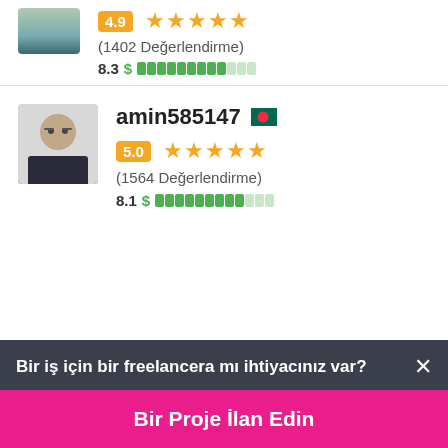[Figure (photo): Partial profile photo of first user at top of page]
4.9 ★★★★★
(1402 Değerlendirme)
8.3 $ ██████████░░
[Figure (photo): Profile photo of amin585147, a man with glasses in a suit]
amin585147
5.0 ★★★★★
(1564 Değerlendirme)
8.1 $ ██████████░░
Bir iş için bir freelancera mı ihtiyacınız var? ×
Bir Proje İlan Edin